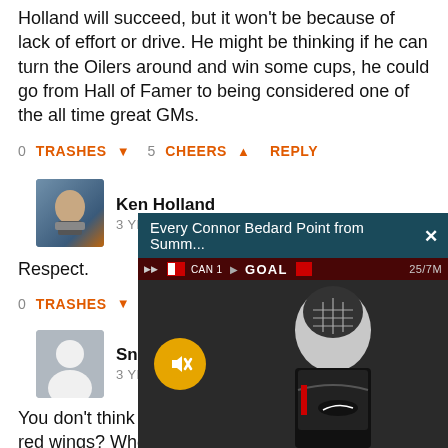Holland will succeed, but it won't be because of lack of effort or drive. He might be thinking if he can turn the Oilers around and win some cups, he could go from Hall of Famer to being considered one of the all time great GMs.
0 TRASHES ↓  5 CHEERS ↑  REPLY
[Figure (photo): Avatar photo of Ken Holland, a man in a suit]
Ken Holland
3 YEARS AGO
Respect.
0 TRASHES ↓  4 CH... REPLY
[Figure (photo): Anonymous user avatar silhouette]
SnowMan8
3 YEARS AGO
You don't think he mi... red wings? Who are t... effort level than Holland and now do you know that. Have
[Figure (screenshot): Video overlay showing 'Every Connor Bedard Point from Summ...' with a hockey player in frame, a mute button, and a GOAL scoreboard overlay]